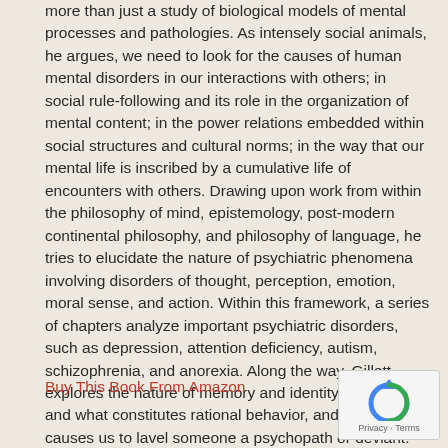more than just a study of biological models of mental processes and pathologies. As intensely social animals, he argues, we need to look for the causes of human mental disorders in our interactions with others; in social rule-following and its role in the organization of mental content; in the power relations embedded within social structures and cultural norms; in the way that our mental life is inscribed by a cumulative life of encounters with others. Drawing upon work from within the philosophy of mind, epistemology, post-modern continental philosophy, and philosophy of language, he tries to elucidate the nature of psychiatric phenomena involving disorders of thought, perception, emotion, moral sense, and action. Within this framework, a series of chapters analyze important psychiatric disorders, such as depression, attention deficiency, autism, schizophrenia, and anorexia. Along the way, Gillett explores the nature of memory and identity; of hysteria and what constitutes rational behavior, and of what causes us to lavel someone a psychopath or deviant.
Buy This Book From Amazon
[Figure (other): reCAPTCHA widget showing a circular arrow icon with 'Privacy · Terms' text below]